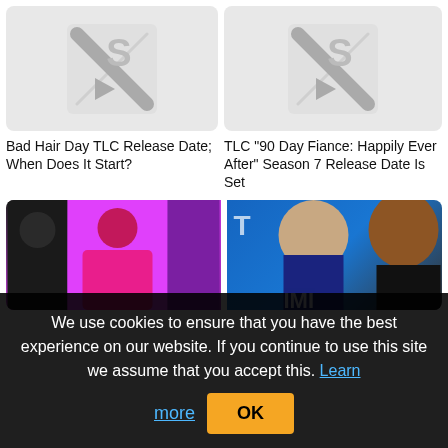[Figure (illustration): Placeholder thumbnail with stylized S logo, gray background, rounded corners]
[Figure (illustration): Placeholder thumbnail with stylized S logo, gray background, rounded corners]
Bad Hair Day TLC Release Date; When Does It Start?
TLC “90 Day Fiance: Happily Ever After” Season 7 Release Date Is Set
[Figure (photo): Women in pink and purple outfits on colorful background]
[Figure (photo): Man and woman on blue background, partial view]
We use cookies to ensure that you have the best experience on our website. If you continue to use this site we assume that you accept this. Learn more
OK